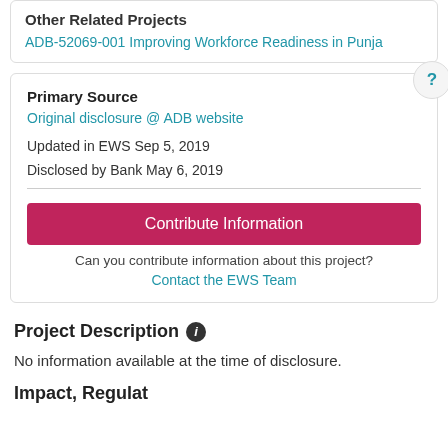Other Related Projects
ADB-52069-001 Improving Workforce Readiness in Punjab
Primary Source
Original disclosure @ ADB website
Updated in EWS Sep 5, 2019
Disclosed by Bank May 6, 2019
Contribute Information
Can you contribute information about this project?
Contact the EWS Team
Project Description
No information available at the time of disclosure.
Impact, Regulations &